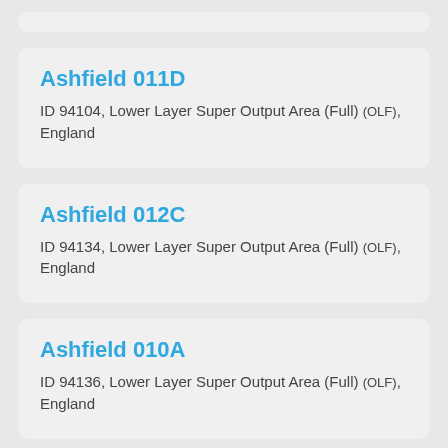Ashfield 011D
ID 94104, Lower Layer Super Output Area (Full) (OLF), England
Ashfield 012C
ID 94134, Lower Layer Super Output Area (Full) (OLF), England
Ashfield 010A
ID 94136, Lower Layer Super Output Area (Full) (OLF), England